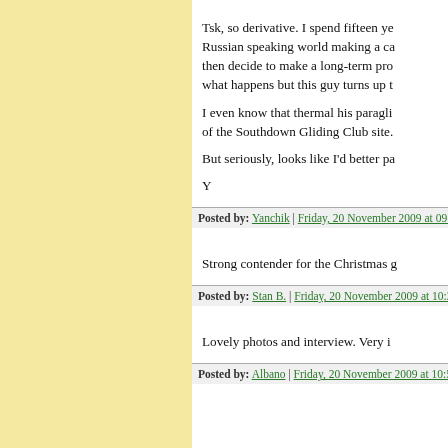Tsk, so derivative. I spend fifteen years in the Russian speaking world making a case... then decide to make a long-term pro... what happens but this guy turns up t...
I even know that thermal his paragli... of the Southdown Gliding Club site.
But seriously, looks like I'd better pa...
Y
Posted by: Yanchik | Friday, 20 November 2009 at 09:2...
Strong contender for the Christmas g...
Posted by: Stan B. | Friday, 20 November 2009 at 10:2...
Lovely photos and interview. Very i...
Posted by: Albano | Friday, 20 November 2009 at 10:5...